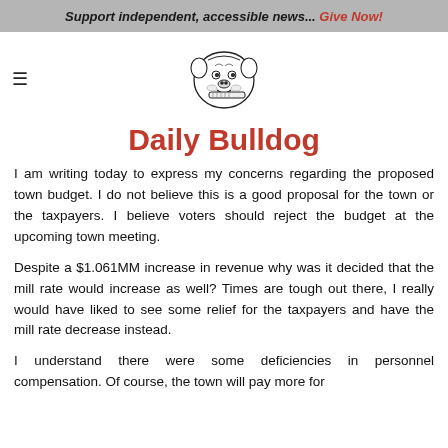Support independent, accessible news... Give Now!
[Figure (logo): Daily Bulldog bulldog mascot logo holding a newspaper/pen]
Daily Bulldog
I am writing today to express my concerns regarding the proposed town budget. I do not believe this is a good proposal for the town or the taxpayers. I believe voters should reject the budget at the upcoming town meeting.
Despite a $1.061MM increase in revenue why was it decided that the mill rate would increase as well? Times are tough out there, I really would have liked to see some relief for the taxpayers and have the mill rate decrease instead.
I understand there were some deficiencies in personnel compensation. Of course, the town will pay more for